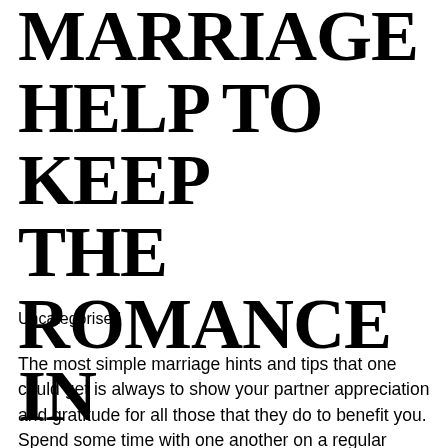STRAIGHTFORWARD MARRIAGE HELP TO KEEP THE ROMANCE IN
Uncategorised
The most simple marriage hints and tips that one could get is always to show your partner appreciation and gratitude for all those that they do to benefit you. Spend some time with one another on a regular basis, regardless if it is only for a few mins. It may seem tough with as well as work needs, but it is very important to remember that the romantic movie factor is important to keep a nutritious relationship. In case your partner is very